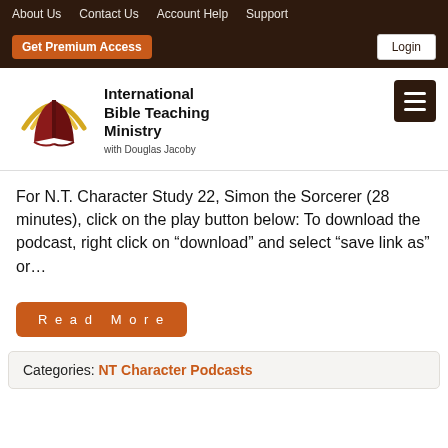About Us  Contact Us  Account Help  Support
Get Premium Access  Login
[Figure (logo): International Bible Teaching Ministry logo with open book and golden arc, with text 'International Bible Teaching Ministry with Douglas Jacoby']
For N.T. Character Study 22, Simon the Sorcerer (28 minutes), click on the play button below: To download the podcast, right click on “download” and select “save link as” or...
Read More
Categories: NT Character Podcasts